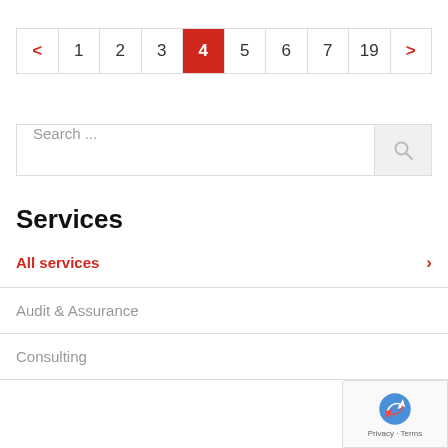[Figure (other): Pagination navigation bar with page numbers: < 1 2 3 4(active/red) 5 6 7 19 >]
[Figure (other): Search bar with placeholder text 'Search ...' and magnifier icon button]
Services
All services
Audit & Assurance
Consulting